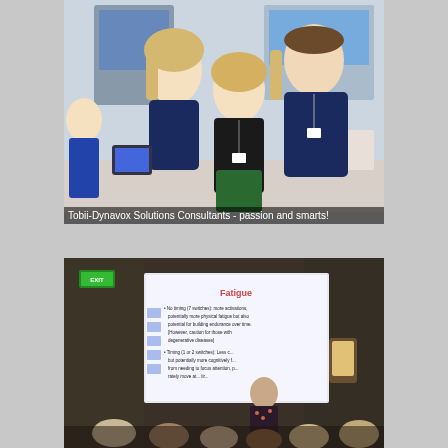[Figure (photo): Three people posing at a Tobii-Dynavox trade show booth. Two women and one man wearing navy blue shirts with lanyards/badges. Background shows display screens and product demonstrations.]
Tobii-Dynavox Solutions Consultants - passion and smarts!
[Figure (photo): A presenter standing at the front of a conference room showing a projected slide titled 'Fatigue' with bullet points about timing and switches. Audience members seen from behind in the foreground.]